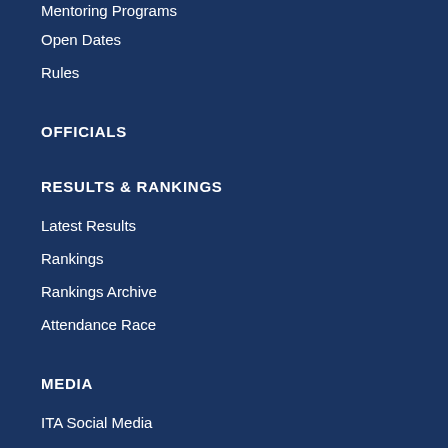Mentoring Programs
Open Dates
Rules
OFFICIALS
RESULTS & RANKINGS
Latest Results
Rankings
Rankings Archive
Attendance Race
MEDIA
ITA Social Media
News Feed
Style Guide
EVENTS